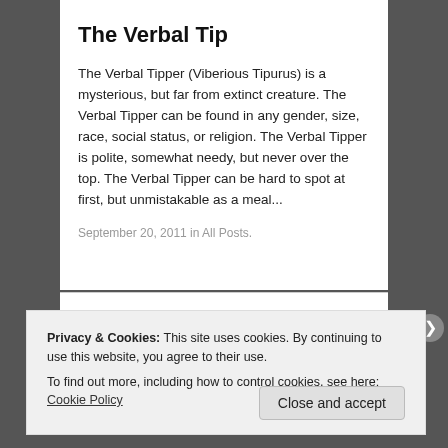The Verbal Tip
The Verbal Tipper (Viberious Tipurus) is a mysterious, but far from extinct creature. The Verbal Tipper can be found in any gender, size, race, social status, or religion. The Verbal Tipper is polite, somewhat needy, but never over the top. The Verbal Tipper can be hard to spot at first, but unmistakable as a meal...
September 20, 2011 in All Posts.
Privacy & Cookies: This site uses cookies. By continuing to use this website, you agree to their use.
To find out more, including how to control cookies, see here: Cookie Policy